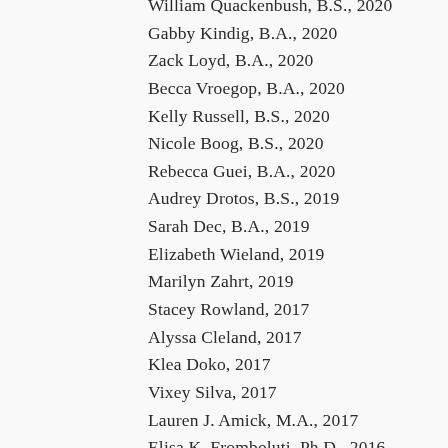William Quackenbush, B.S., 2020
Gabby Kindig, B.A., 2020
Zack Loyd, B.A., 2020
Becca Vroegop, B.A., 2020
Kelly Russell, B.S., 2020
Nicole Boog, B.S., 2020
Rebecca Guei, B.A., 2020
Audrey Drotos, B.S., 2019
Sarah Dec, B.A., 2019
Elizabeth Wieland, 2019
Marilyn Zahrt, 2019
Stacey Rowland, 2017
Alyssa Cleland, 2017
Klea Doko, 2017
Vixey Silva, 2017
Lauren J. Amick, M.A., 2017
Elisa K. Fromboluti, Ph.D., 2016
Courtney Cox, 2016
Audrianna St. Germain, 2016